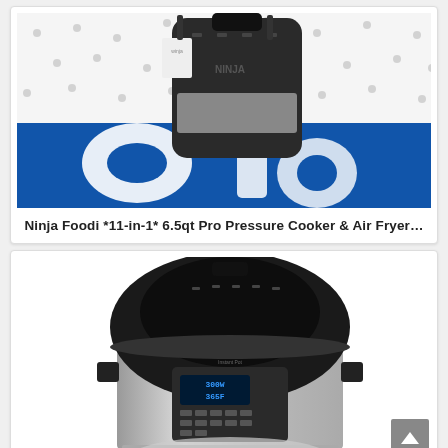[Figure (photo): Photo of a Ninja Foodi pressure cooker and air fryer, black lid visible, sitting on a blue patterned surface with white polka dot background]
Ninja Foodi *11-in-1* 6.5qt Pro Pressure Cooker & Air Fryer...
[Figure (photo): Photo of an Instant Pot Duo Crisp with Air Fryer lid, stainless steel body with black dome lid, control panel visible with blue display showing temperature]